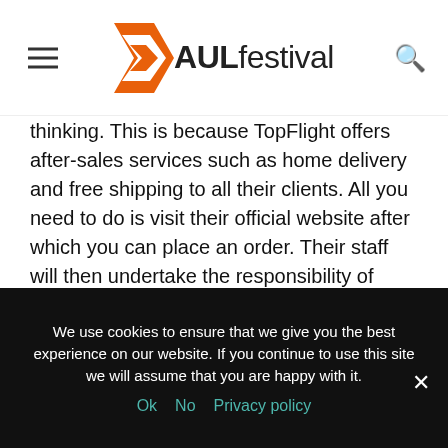PAULfestival
...thinking. This is because TopFlight offers after-sales services such as home delivery and free shipping to all their clients. All you need to do is visit their official website after which you can place an order. Their staff will then undertake the responsibility of making sure the roaches are delivered to your current location within the shortest time possible.
For you to get good value for your money, you should never shy away from asking any question you may have in mind. Fortunately, their customer support team is readily available 24 hours a day, during the entire year unless when the site is
We use cookies to ensure that we give you the best experience on our website. If you continue to use this site we will assume that you are happy with it.
Ok  No  Privacy policy